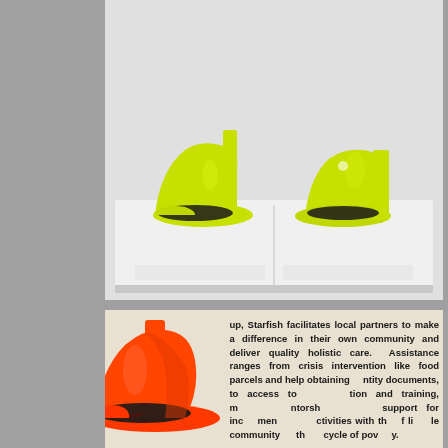[Figure (photo): Two neon yellow-green high heel platform shoes displayed on a white/light gray surface in what appears to be a museum or gallery exhibition case. The shoes have black insoles and are shown side by side.]
[Figure (photo): A bright orange/coral high heel shoe in the foreground, overlapping a panel of large bold text describing Starfish organization's work: 'up, Starfish facilitates local partners to make a difference in their own community and deliver quality holistic care. Assistance ranges from crisis intervention like food parcels and help obtaining [identity] documents, to access to [education] and training, mentors[hip and] support for inco[me generating] activities with th[e aim of li]ving [in a] viable community [breaking th]e [poverty] cycle of pov[er]ty.']